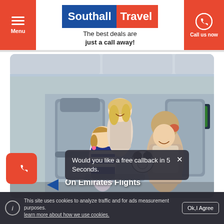Menu | Southall Travel | Call us now
The best deals are just a call away!
[Figure (photo): Flight attendant holding a panda toy interacting with a young girl seated in economy class, with a woman (mother) smiling behind the seat. Interior of a commercial airplane cabin.]
Would you like a free callback in 5 Seconds.
On Emirates Flights
This site uses cookies to analyze traffic and for ads measurement purposes. learn more about how we use cookies.
Ok,I Agree